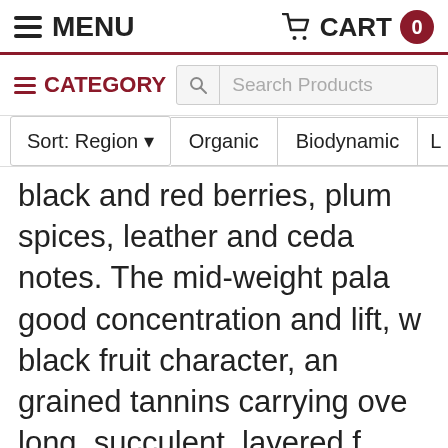MENU  CART 0
CATEGORY  Search Products
Sort: Region  Organic  Biodynamic  L
black and red berries, plum spices, leather and ceda notes. The mid-weight pala good concentration and lift, w black fruit character, an grained tannins carrying ove long, succulent, layered f Delici...